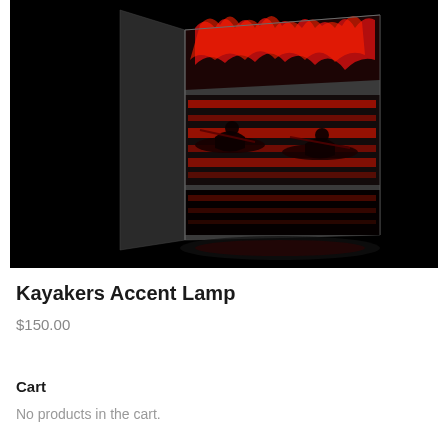[Figure (photo): A decorative accent lamp with a white rectangular box shape, featuring cut-out designs of kayakers glowing red from an interior light source, photographed against a black background.]
Kayakers Accent Lamp
$150.00
Cart
No products in the cart.